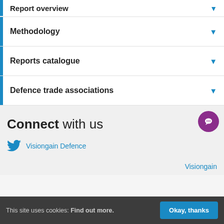Report overview
Methodology
Reports catalogue
Defence trade associations
Connect with us
Visiongain Defence
Visiongain
This site uses cookies: Find out more. Okay, thanks